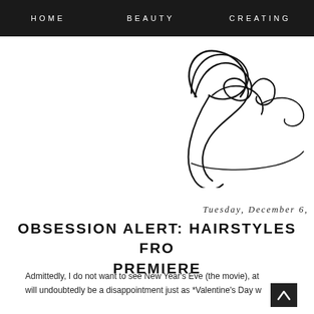HOME   BEAUTY   CREATING
[Figure (illustration): Cursive/script signature logo beginning with 'Prim' in elegant handwritten style, black on white background]
Tuesday, December 6,
OBSESSION ALERT: HAIRSTYLES FROM PREMIERE
Admittedly, I do not want to see New Year's Eve (the movie), at will undoubtedly be a disappointment just as *Valentine's Day w